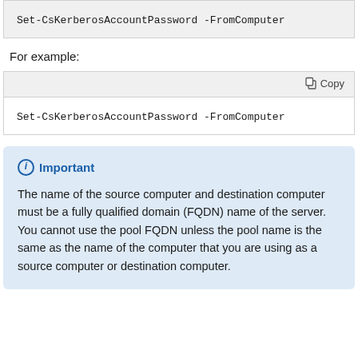Set-CsKerberosAccountPassword -FromComputer
For example:
Copy
Set-CsKerberosAccountPassword -FromComputer
Important
The name of the source computer and destination computer must be a fully qualified domain (FQDN) name of the server. You cannot use the pool FQDN unless the pool name is the same as the name of the computer that you are using as a source computer or destination computer.